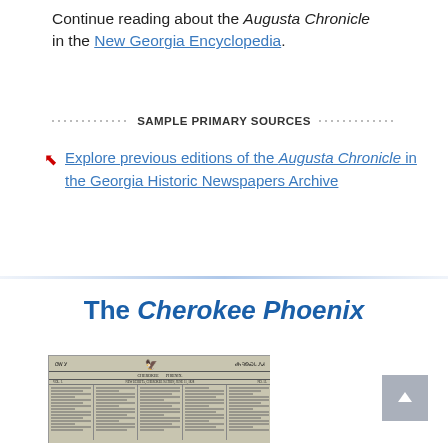Continue reading about the Augusta Chronicle in the New Georgia Encyclopedia.
SAMPLE PRIMARY SOURCES
Explore previous editions of the Augusta Chronicle in the Georgia Historic Newspapers Archive
The Cherokee Phoenix
[Figure (photo): Scanned front page of the Cherokee Phoenix newspaper, showing Cherokee and English text, masthead with an eagle illustration, and multiple columns of text.]